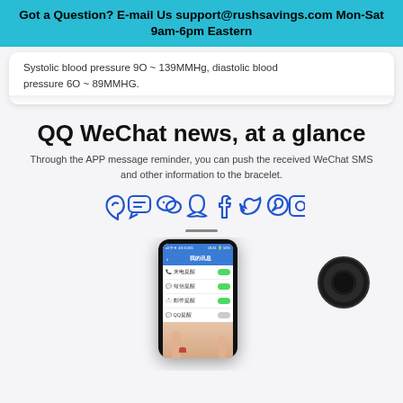Got a Question? E-mail Us support@rushsavings.com Mon-Sat 9am-6pm Eastern
Systolic blood pressure 90 ~ 139MMHg, diastolic blood pressure 60 ~ 89MMHG.
QQ WeChat news, at a glance
Through the APP message reminder, you can push the received WeChat SMS and other information to the bracelet.
[Figure (infographic): Row of social media app icons in blue outline style: phone/QQ, message bubble, WeChat, Snapchat, Facebook, Twitter, WhatsApp, Instagram]
[Figure (photo): Smartphone displaying a Chinese-language app notification settings screen with toggle switches, held by a hand with red nail polish. A black smart bracelet/wearable is shown to the right.]